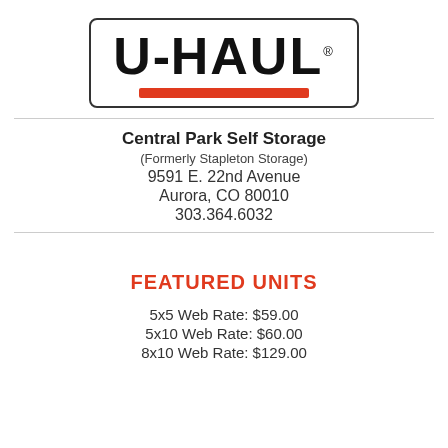[Figure (logo): U-Haul logo with orange/red horizontal bar inside a rounded rectangle border]
Central Park Self Storage
(Formerly Stapleton Storage)
9591 E. 22nd Avenue
Aurora, CO 80010
303.364.6032
FEATURED UNITS
5x5 Web Rate: $59.00
5x10 Web Rate: $60.00
8x10 Web Rate: $129.00